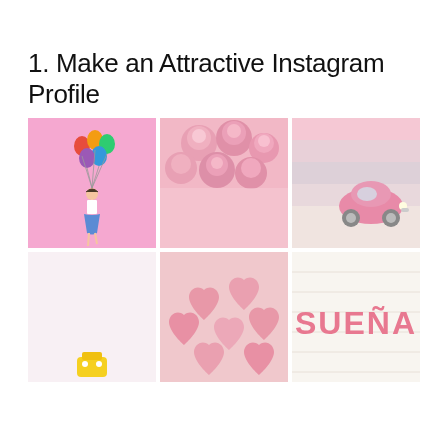1. Make an Attractive Instagram Profile
[Figure (photo): A 2x3 grid of pink-themed Instagram photos: top-left shows a girl holding colorful balloons on a pink background; top-middle shows pink roses/flowers; top-right shows a pink toy car on a striped pastel background; bottom-left shows a mostly white/light pink image with a small yellow object; bottom-middle shows pink heart-shaped candies; bottom-right shows the word SUEÑA in pink letters on a white wood background.]